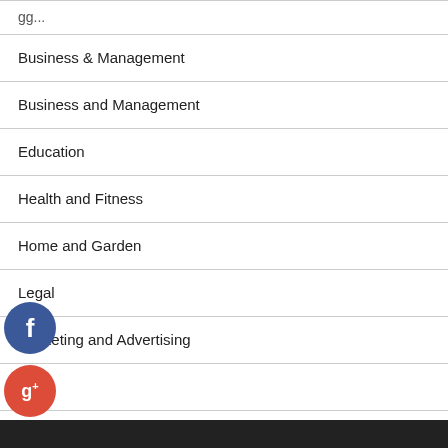Business & Management
Business and Management
Education
Health and Fitness
Home and Garden
Legal
Marketing and Advertising
Pets
Technology and Gadgets
Travel and Leisure